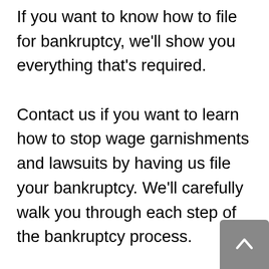If you want to know how to file for bankruptcy, we'll show you everything that's required. Contact us if you want to learn how to stop wage garnishments and lawsuits by having us file your bankruptcy. We'll carefully walk you through each step of the bankruptcy process. Our law firm accepts payments at a pace that works best for you and with a schedule that you can afford. We provide professional bankruptcy services for the people of Bellflower and the Surrounding Area. We tailor